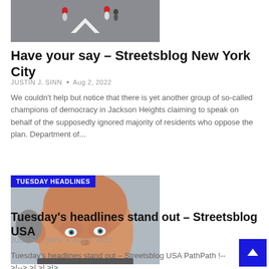[Figure (photo): Street scene with pedestrians on a crosswalk, viewed from above]
Have your say – Streetsblog New York City
JUSTIN J. SINN  •  Aug 2, 2022
We couldn't help but notice that there is yet another group of so-called champions of democracy in Jackson Heights claiming to speak on behalf of the supposedly ignored majority of residents who oppose the plan. Department of...
[Figure (photo): Close-up portrait of a bald man, with a blue TUESDAY HEADLINES badge overlay]
Tuesday's headlines stand out – Streetsblog USA
JUSTIN J. SINN  •  Aug 2, 2022
Tuesday's headlines stand out – Streetsblog USA PathPath !-->!--> >| >| >| >